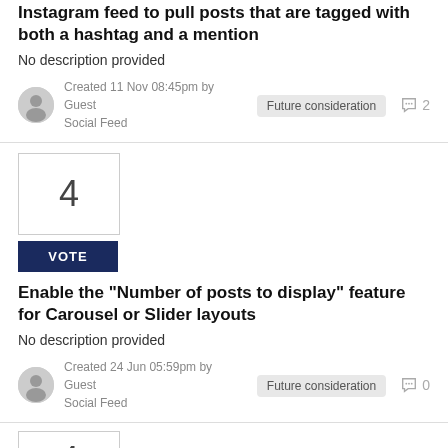Instagram feed to pull posts that are tagged with both a hashtag and a mention
No description provided
Created 11 Nov 08:45pm by Guest
Social Feed
Future consideration
2
4
VOTE
Enable the "Number of posts to display" feature for Carousel or Slider layouts
No description provided
Created 24 Jun 05:59pm by Guest
Social Feed
Future consideration
0
4
VOTE